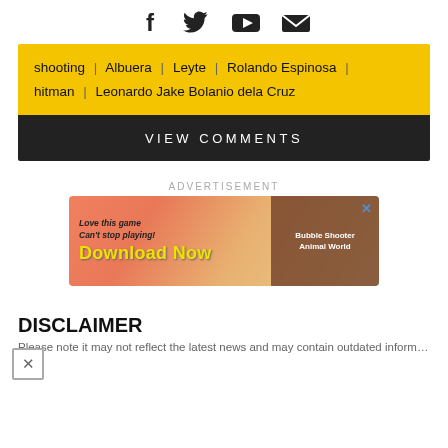[Figure (other): Social media icons: Facebook, Twitter, YouTube, Email]
shooting | Albuera | Leyte | Rolando Espinosa | hitman | Leonardo Jake Bolanio dela Cruz
VIEW COMMENTS
ADVERTISEMENT
[Figure (other): Advertisement banner: Love this game Can't stop playing! Download Now - Bubble Shooter Animal World]
DISCLAIMER
Please note it may not reflect the latest news and may contain outdated...